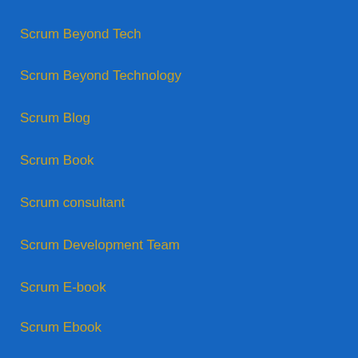Scrum Beyond Tech
Scrum Beyond Technology
Scrum Blog
Scrum Book
Scrum consultant
Scrum Development Team
Scrum E-book
Scrum Ebook
Scrum Educational Unit